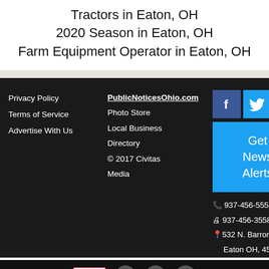Tractors in Eaton, OH
2020 Season in Eaton, OH
Farm Equipment Operator in Eaton, OH
Privacy Policy
Terms of Service
Advertise With Us
PublicNoticesOhio.com
Photo Store
Local Business
Directory
© 2017 Civitas Media
Get News Alerts
937-456-5553
937-456-3558
532 N. Barron St., Eaton OH, 45320